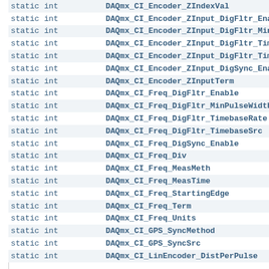| type | name |
| --- | --- |
| static int | DAQmx_CI_Encoder_ZIndexVal |
| static int | DAQmx_CI_Encoder_ZInput_DigFltr_Enable |
| static int | DAQmx_CI_Encoder_ZInput_DigFltr_MinPulseWidth |
| static int | DAQmx_CI_Encoder_ZInput_DigFltr_TimebaseRate |
| static int | DAQmx_CI_Encoder_ZInput_DigFltr_TimebaseSrc |
| static int | DAQmx_CI_Encoder_ZInput_DigSync_Enable |
| static int | DAQmx_CI_Encoder_ZInputTerm |
| static int | DAQmx_CI_Freq_DigFltr_Enable |
| static int | DAQmx_CI_Freq_DigFltr_MinPulseWidth |
| static int | DAQmx_CI_Freq_DigFltr_TimebaseRate |
| static int | DAQmx_CI_Freq_DigFltr_TimebaseSrc |
| static int | DAQmx_CI_Freq_DigSync_Enable |
| static int | DAQmx_CI_Freq_Div |
| static int | DAQmx_CI_Freq_MeasMeth |
| static int | DAQmx_CI_Freq_MeasTime |
| static int | DAQmx_CI_Freq_StartingEdge |
| static int | DAQmx_CI_Freq_Term |
| static int | DAQmx_CI_Freq_Units |
| static int | DAQmx_CI_GPS_SyncMethod |
| static int | DAQmx_CI_GPS_SyncSrc |
| static int | DAQmx_CI_LinEncoder_DistPerPulse |